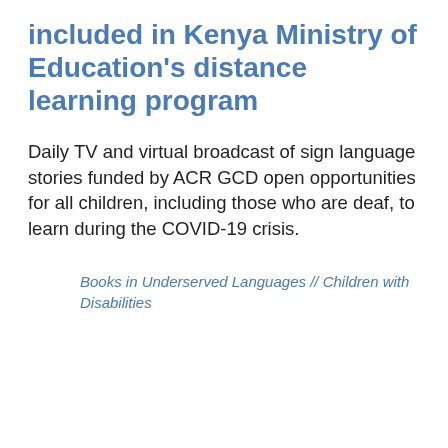included in Kenya Ministry of Education's distance learning program
Daily TV and virtual broadcast of sign language stories funded by ACR GCD open opportunities for all children, including those who are deaf, to learn during the COVID-19 crisis.
Books in Underserved Languages // Children with Disabilities